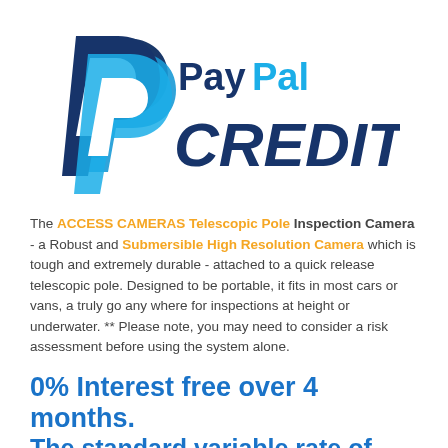[Figure (logo): PayPal Credit logo — blue P icon on left with dark blue 'PayPal' and large italic dark blue 'CREDIT' text]
The ACCESS CAMERAS Telescopic Pole Inspection Camera - a Robust and Submersible High Resolution Camera which is tough and extremely durable - attached to a quick release telescopic pole. Designed to be portable, it fits in most cars or vans, a truly go any where for inspections at height or underwater. ** Please note, you may need to consider a risk assessment before using the system alone.
0% Interest free over 4 months. The standard variable rate of 17.9% APR will apply to any outstanding